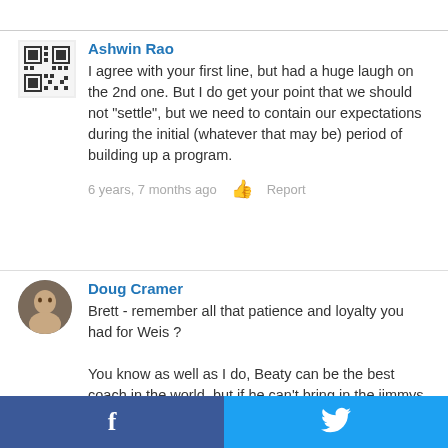Ashwin Rao
I agree with your first line, but had a huge laugh on the 2nd one. But I do get your point that we should not "settle", but we need to contain our expectations during the initial (whatever that may be) period of building up a program.
6 years, 7 months ago  Report
Doug Cramer
Brett - remember all that patience and loyalty you had for Weis ?

You know as well as I do, Beaty can be the best coach in the world, but if he can't bring in the jimmys and the joes, it won't matter.